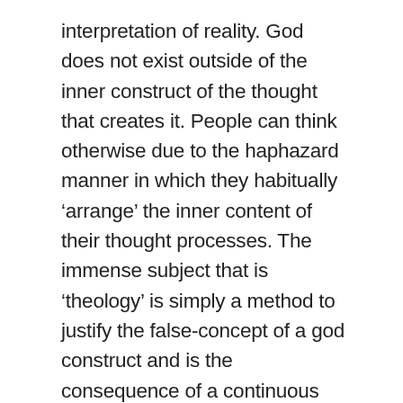interpretation of reality. God does not exist outside of the inner construct of the thought that creates it. People can think otherwise due to the haphazard manner in which they habitually ‘arrange’ the inner content of their thought processes. The immense subject that is ‘theology’ is simply a method to justify the false-concept of a god construct and is the consequence of a continuous and incorrect organisation of the inner constructs of each thought that emerges in the mind of the religionists. This scientific breakthrough proves that Karl Marx was theoretically correct when he stated that the thinking of theistic concepts is ‘inverted’ in that a ‘god’ concept generated in the mind by a human thinker is mistakenly assumed by that thinker to